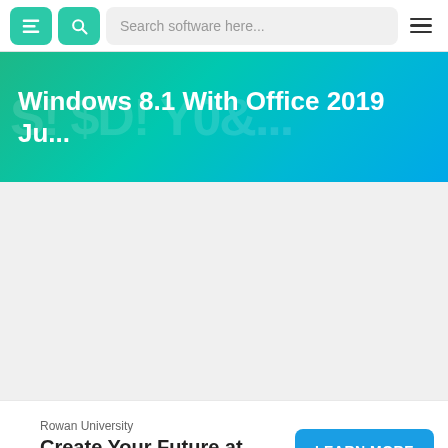Search software here...
Windows 8.1 With Office 2019 Ju...
[Figure (screenshot): Grey empty content area below the hero banner, placeholder for software download content]
Rowan University
Create Your Future at Rowan
LEARN MORE